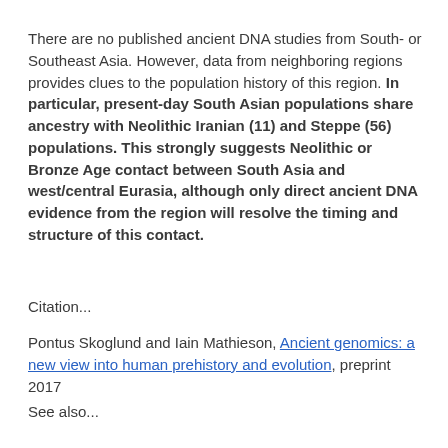There are no published ancient DNA studies from South- or Southeast Asia. However, data from neighboring regions provides clues to the population history of this region. In particular, present-day South Asian populations share ancestry with Neolithic Iranian (11) and Steppe (56) populations. This strongly suggests Neolithic or Bronze Age contact between South Asia and west/central Eurasia, although only direct ancient DNA evidence from the region will resolve the timing and structure of this contact.
Citation...
Pontus Skoglund and Iain Mathieson, Ancient genomics: a new view into human prehistory and evolution, preprint 2017
See also...